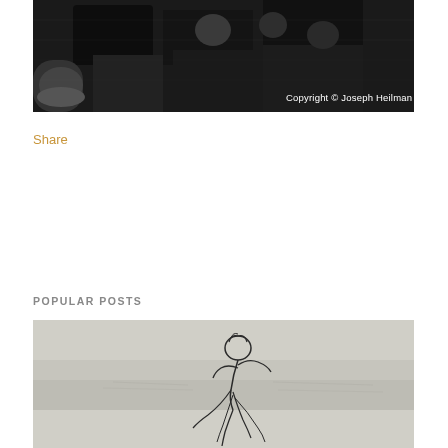[Figure (photo): Black and white photograph, partially visible at top of page, showing people in dark tones with a copyright notice 'Copyright © Joseph Heilman' in white text at bottom right]
Share
POPULAR POSTS
[Figure (photo): Black and white sketch/drawing of a dancer or figure in motion, shown against a light gray background]